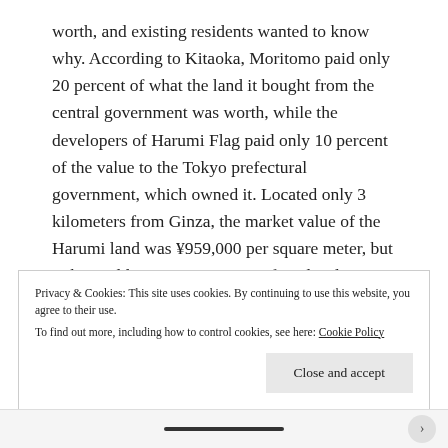worth, and existing residents wanted to know why. According to Kitaoka, Moritomo paid only 20 percent of what the land it bought from the central government was worth, while the developers of Harumi Flag paid only 10 percent of the value to the Tokyo prefectural government, which owned it. Located only 3 kilometers from Ginza, the market value of the Harumi land was ¥959,000 per square meter, but Tokyo sold it to a consortium of 11 developers, including Mitsui Fudosan Residential, for only ¥97,000 per square meter. This consortium
Privacy & Cookies: This site uses cookies. By continuing to use this website, you agree to their use.
To find out more, including how to control cookies, see here: Cookie Policy
Close and accept